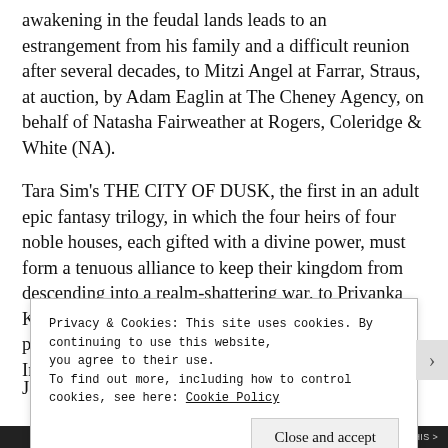awakening in the feudal lands leads to an estrangement from his family and a difficult reunion after several decades, to Mitzi Angel at Farrar, Straus, at auction, by Adam Eaglin at The Cheney Agency, on behalf of Natasha Fairweather at Rogers, Coleridge & White (NA).
Tara Sim's THE CITY OF DUSK, the first in an adult epic fantasy trilogy, in which the four heirs of four noble houses, each gifted with a divine power, must form a tenuous alliance to keep their kingdom from descending into a realm-shattering war, to Priyanka Krishnan at Orbit, in a three-book deal, for publication in spring of 2022, by Victoria Marini at Irene Goodman Agency (world).
Privacy & Cookies: This site uses cookies. By continuing to use this website, you agree to their use.
To find out more, including how to control cookies, see here: Cookie Policy
Close and accept